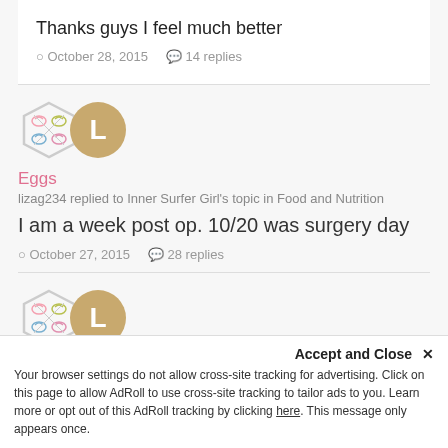Thanks guys I feel much better
October 28, 2015   14 replies
[Figure (illustration): Hexagon badge icon with small colorful icons inside, and a circular avatar with letter L]
Eggs
lizag234 replied to Inner Surfer Girl's topic in Food and Nutrition
I am a week post op. 10/20 was surgery day
October 27, 2015   28 replies
[Figure (illustration): Hexagon badge icon with small colorful icons inside, and a circular avatar with letter L]
Eggs
Accept and Close ✕
Your browser settings do not allow cross-site tracking for advertising. Click on this page to allow AdRoll to use cross-site tracking to tailor ads to you. Learn more or opt out of this AdRoll tracking by clicking here. This message only appears once.